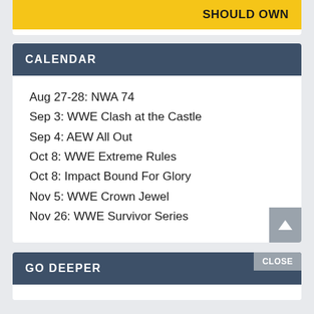[Figure (other): Yellow banner advertisement with text 'SHOULD OWN' and image of person]
CALENDAR
Aug 27-28: NWA 74
Sep 3: WWE Clash at the Castle
Sep 4: AEW All Out
Oct 8: WWE Extreme Rules
Oct 8: Impact Bound For Glory
Nov 5: WWE Crown Jewel
Nov 26: WWE Survivor Series
GO DEEPER